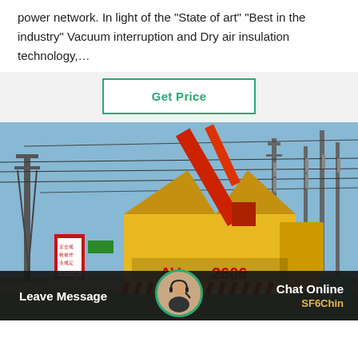power network. In light of the "State of art" "Best in the industry" Vacuum interruption and Dry air insulation technology,…
Get Price
[Figure (photo): Electrical substation with a yellow truck (license plate AV 2606) and a red crane in operation, surrounded by power transmission towers, insulators, and wiring infrastructure. Safety signs in Chinese visible on the left.]
Leave Message
Chat Online SF6China